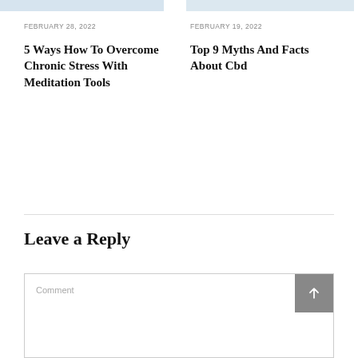[Figure (photo): Partial top edge of two article thumbnail images, cropped at the top of the page]
FEBRUARY 28, 2022
5 Ways How To Overcome Chronic Stress With Meditation Tools
FEBRUARY 19, 2022
Top 9 Myths And Facts About Cbd
Leave a Reply
Comment